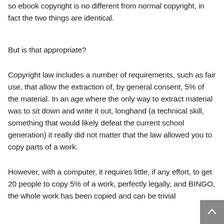so ebook copyright is no different from normal copyright, in fact the two things are identical.
But is that appropriate?
Copyright law includes a number of requirements, such as fair use, that allow the extraction of, by general consent, 5% of the material. In an age where the only way to extract material was to sit down and write it out, longhand (a technical skill, something that would likely defeat the current school generation) it really did not matter that the law allowed you to copy parts of a work.
However, with a computer, it requires little, if any effort, to get 20 people to copy 5% of a work, perfectly legally, and BINGO, the whole work has been copied and can be trivially...